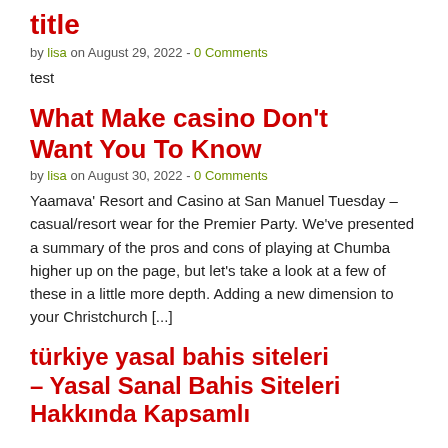title
by lisa on August 29, 2022 - 0 Comments
test
What Make casino Don't Want You To Know
by lisa on August 30, 2022 - 0 Comments
Yaamava' Resort and Casino at San Manuel Tuesday – casual/resort wear for the Premier Party. We've presented a summary of the pros and cons of playing at Chumba higher up on the page, but let's take a look at a few of these in a little more depth. Adding a new dimension to your Christchurch [...]
türkiye yasal bahis siteleri – Yasal Sanal Bahis Siteleri Hakkında Kapsamlı